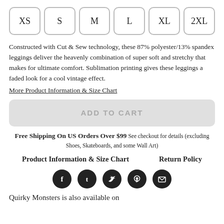XS S M L XL 2XL
Constructed with Cut & Sew technology, these 87% polyester/13% spandex leggings deliver the heavenly combination of super soft and stretchy that makes for ultimate comfort. Sublimation printing gives these leggings a faded look for a cool vintage effect.
More Product Information & Size Chart
ADD TO CART
Free Shipping On US Orders Over $99 See checkout for details (excluding Shoes, Skateboards, and some Wall Art)
Product Information & Size Chart   Return Policy
[Figure (infographic): Social media icons: Facebook, Tumblr, Twitter, Pinterest, Email]
Quirky Monsters is also available on